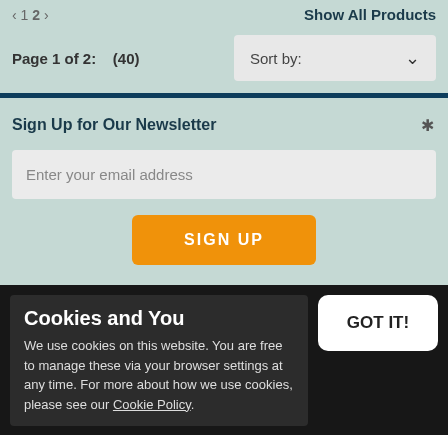< 1 2 >   Show All Products
Page 1 of 2:   (40)
Sort by:
Sign Up for Our Newsletter
Enter your email address
SIGN UP
CUSTOMER SERVICES
Useful Links
Privacy Policy
By Shipping
Terms & Conditions
Cookies and You
We use cookies on this website. You are free to manage these via your browser settings at any time. For more about how we use cookies, please see our Cookie Policy.
GOT IT!